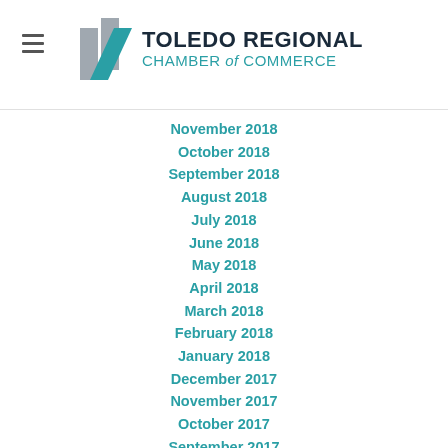[Figure (logo): Toledo Regional Chamber of Commerce logo with geometric icon and text]
November 2018
October 2018
September 2018
August 2018
July 2018
June 2018
May 2018
April 2018
March 2018
February 2018
January 2018
December 2017
November 2017
October 2017
September 2017
August 2017
July 2017